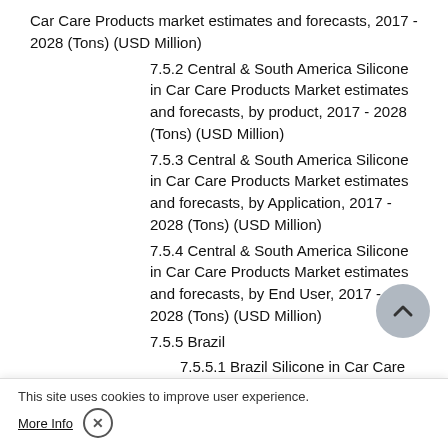Car Care Products market estimates and forecasts, 2017 - 2028 (Tons) (USD Million)
7.5.2 Central & South America Silicone in Car Care Products Market estimates and forecasts, by product, 2017 - 2028 (Tons) (USD Million)
7.5.3 Central & South America Silicone in Car Care Products Market estimates and forecasts, by Application, 2017 - 2028 (Tons) (USD Million)
7.5.4 Central & South America Silicone in Car Care Products Market estimates and forecasts, by End User, 2017 - 2028 (Tons) (USD Million)
7.5.5 Brazil
7.5.5.1 Brazil Silicone in Car Care Products market estimates and forecasts, 2017 - 2028 (Tons) (USD Million)
7.5.5.2 Brazil Silicone in Car Care Products Market estimates and forecasts, by product, 2017 - 2028 (Tons) (USD Million)
7.5.5.3 Brazil Silicone in Car Care